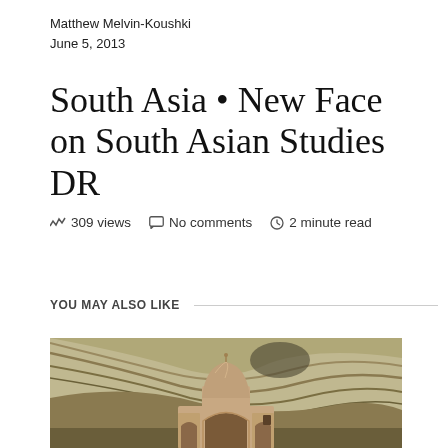Matthew Melvin-Koushki
June 5, 2013
South Asia • New Face on South Asian Studies DR
309 views   No comments   2 minute read
YOU MAY ALSO LIKE
[Figure (photo): Photo of a Mughal-style domed structure (mausoleum or mosque) with arched entrance, set against a backdrop of arid brown mountainous terrain with layered geological strata visible on the hillside.]